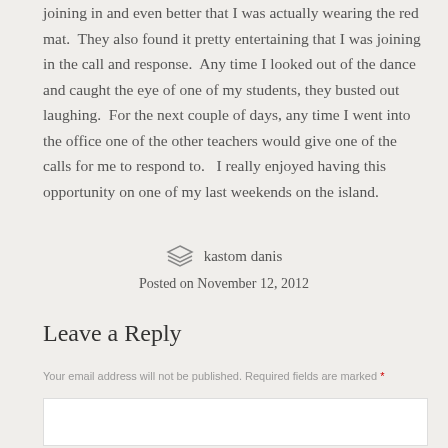joining in and even better that I was actually wearing the red mat.  They also found it pretty entertaining that I was joining in the call and response.  Any time I looked out of the dance and caught the eye of one of my students, they busted out laughing.  For the next couple of days, any time I went into the office one of the other teachers would give one of the calls for me to respond to.   I really enjoyed having this opportunity on one of my last weekends on the island.
kastom danis
Posted on November 12, 2012
Leave a Reply
Your email address will not be published. Required fields are marked *